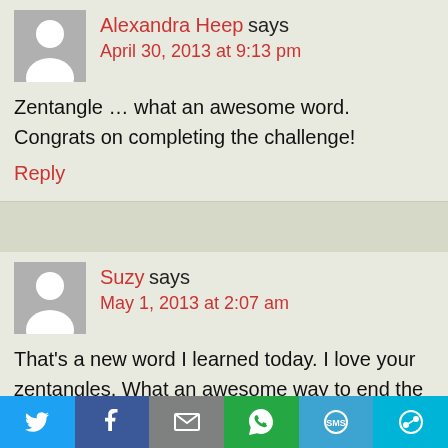[Figure (illustration): User avatar silhouette for Alexandra Heep, grey background with white person silhouette]
Alexandra Heep says
April 30, 2013 at 9:13 pm
Zentangle … what an awesome word. Congrats on completing the challenge!
Reply
[Figure (illustration): User avatar silhouette for Suzy, grey background with white person silhouette]
Suzy says
May 1, 2013 at 2:07 am
That's a new word I learned today. I love your zentangles. What an awesome way to end the
[Figure (infographic): Social sharing bar with Twitter, Facebook, Email, WhatsApp, SMS, and More buttons]